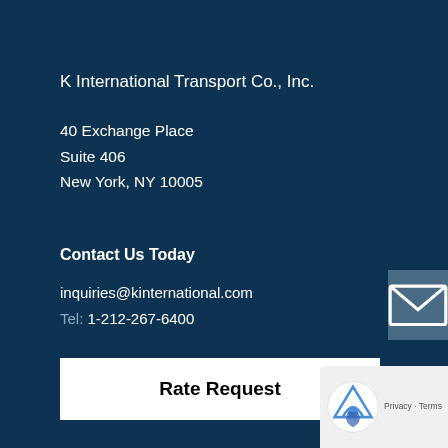K International Transport Co., Inc.
40 Exchange Place
Suite 406
New York, NY 10005
Contact Us Today
inquiries@kinternational.com
Tel: 1-212-267-6400
Rate Request
Links
Links
Sitemap